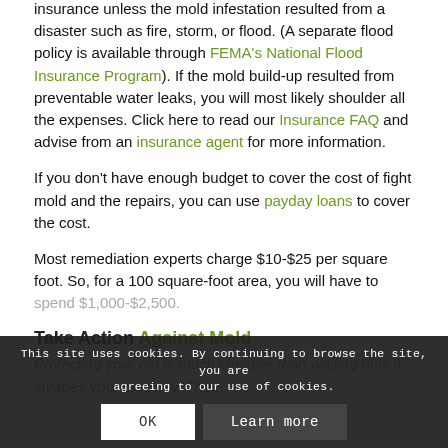insurance unless the mold infestation resulted from a disaster such as fire, storm, or flood. (A separate flood policy is available through FEMA's National Flood Insurance Program). If the mold build-up resulted from preventable water leaks, you will most likely shoulder all the expenses. Click here to read our Insurance FAQ and advise from an insurance agent for more information.
If you don't have enough budget to cover the cost of fight mold and the repairs, you can use payday loans to cover the cost.
Most remediation experts charge $10-$25 per square foot. So, for a 100 square-foot area, you will have to spend $1,000-$2,500.
Take Action Against Mold
Protecting your home from mold is much cheaper than waiting until it invades your property. The...
This site uses cookies. By continuing to browse the site, you are agreeing to our use of cookies.